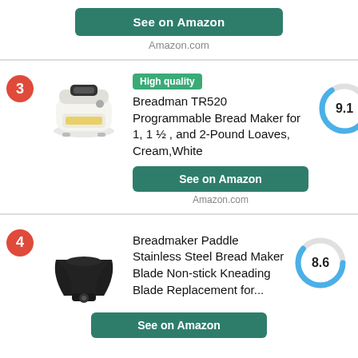See on Amazon
Amazon.com
High quality
Breadman TR520 Programmable Bread Maker for 1, 1 ½ , and 2-Pound Loaves, Cream,White
[Figure (other): Donut/gauge chart showing score 9.1 with blue arc on gray circle]
See on Amazon
Amazon.com
Breadmaker Paddle Stainless Steel Bread Maker Blade Non-stick Kneading Blade Replacement for...
[Figure (other): Donut/gauge chart showing score 8.6 with blue arc on gray circle]
See on Amazon